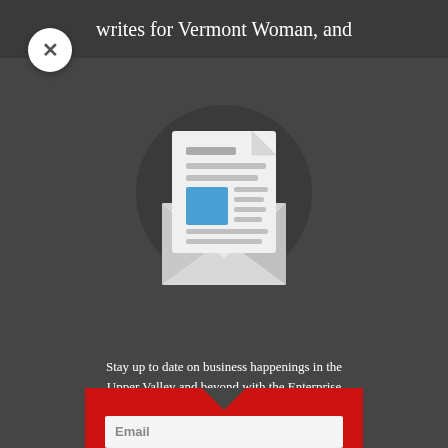writes for Vermont Woman, and
[Figure (illustration): Newsletter subscription modal popup with an envelope icon containing a document with blue square graphic, on dark gray background]
Stay up to date on business happenings in the Upper Valley and beyond with the Enterprise newsletter. Delivered to your inbox once per week!
Email